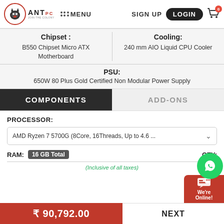ANT PC — MENU   SIGN UP   LOGIN   Cart 0
Chipset : B550 Chipset Micro ATX Motherboard
Cooling: 240 mm AIO Liquid CPU Cooler
PSU: 650W 80 Plus Gold Certified Non Modular Power Supply
COMPONENTS   ADD-ONS
PROCESSOR:
AMD Ryzen 7 5700G (8Core, 16Threads, Up to 4.6 ...
RAM: 16 GB Total   QTY:
(Inclusive of all taxes)
₹ 90,792.00   NEXT